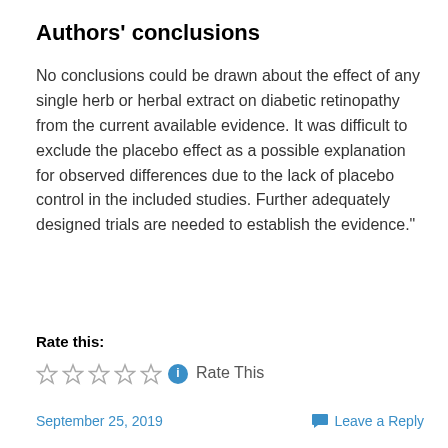Authors' conclusions
No conclusions could be drawn about the effect of any single herb or herbal extract on diabetic retinopathy from the current available evidence. It was difficult to exclude the placebo effect as a possible explanation for observed differences due to the lack of placebo control in the included studies. Further adequately designed trials are needed to establish the evidence."
Rate this:
Rate This
September 25, 2019   Leave a Reply